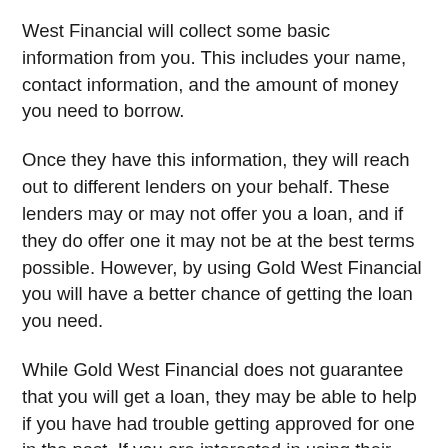West Financial will collect some basic information from you. This includes your name, contact information, and the amount of money you need to borrow.
Once they have this information, they will reach out to different lenders on your behalf. These lenders may or may not offer you a loan, and if they do offer one it may not be at the best terms possible. However, by using Gold West Financial you will have a better chance of getting the loan you need.
While Gold West Financial does not guarantee that you will get a loan, they may be able to help if you have had trouble getting approved for one in the past. If you are interested in using their services, be sure to read over their terms and conditions carefully before proceeding. You can also contact them directly with any questions you may have.